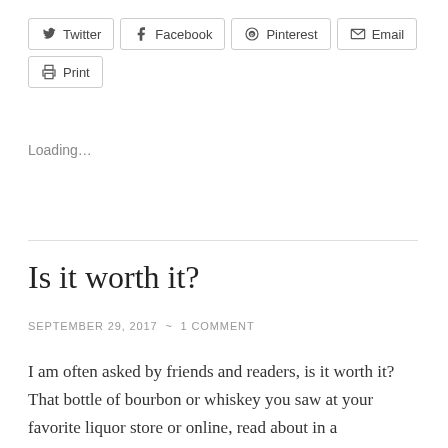[Figure (other): Social share buttons row: Twitter, Facebook, Pinterest, Email, Print]
Loading…
Is it worth it?
SEPTEMBER 29, 2017 ~ 1 COMMENT
I am often asked by friends and readers, is it worth it? That bottle of bourbon or whiskey you saw at your favorite liquor store or online, read about in a